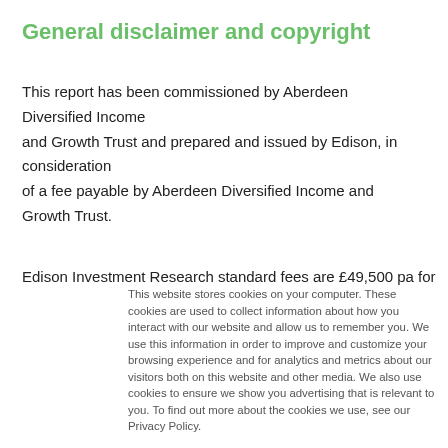General disclaimer and copyright
This report has been commissioned by Aberdeen Diversified Income and Growth Trust and prepared and issued by Edison, in consideration of a fee payable by Aberdeen Diversified Income and Growth Trust.
Edison Investment Research standard fees are £49,500 pa for the
This website stores cookies on your computer. These cookies are used to collect information about how you interact with our website and allow us to remember you. We use this information in order to improve and customize your browsing experience and for analytics and metrics about our visitors both on this website and other media. We also use cookies to ensure we show you advertising that is relevant to you. To find out more about the cookies we use, see our Privacy Policy.

If you decline, your information won't be tracked when you visit this website. A single cookie will be used in your browser to remember your preference not to be tracked.